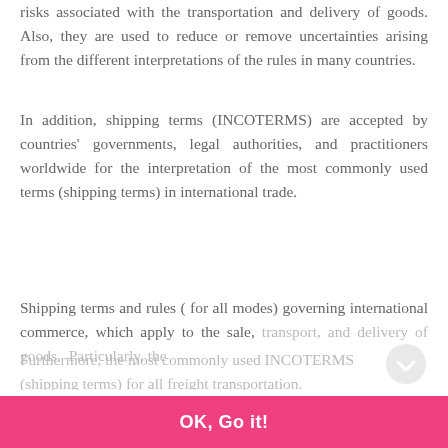risks associated with the transportation and delivery of goods. Also, they are used to reduce or remove uncertainties arising from the different interpretations of the rules in many countries.
In addition, shipping terms (INCOTERMS) are accepted by countries' governments, legal authorities, and practitioners worldwide for the interpretation of the most commonly used terms (shipping terms) in international trade.
Shipping terms and rules ( for all modes) governing international commerce, which apply to the sale, transport, and delivery of goods.  Particularly, the [faded] ... transport mode.
Our website uses cookies to improve your experience. Learn more [external link]
Furthermore, the most commonly used INCOT... (shipping terms) for all freight transportation.